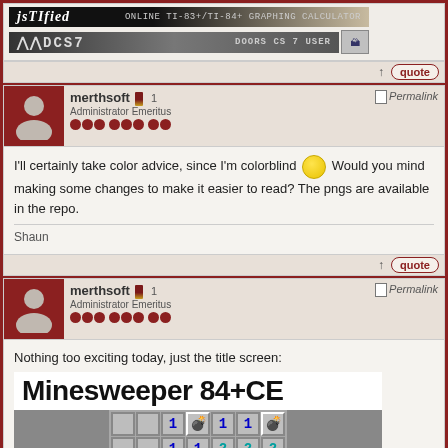[Figure (screenshot): jsTIfied online TI-83+/TI-84+ graphing calculator banner]
[Figure (screenshot): DCS7 Doors CS 7 user banner with small icon]
↑ quote
merthsoft 🏅 1
Administrator Emeritus
Permalink
I'll certainly take color advice, since I'm colorblind 😊 Would you mind making some changes to make it easier to read? The pngs are available in the repo.
Shaun
↑ quote
merthsoft 🏅 1
Administrator Emeritus
Permalink
Nothing too exciting today, just the title screen:
[Figure (screenshot): Minesweeper 84+CE title screen showing game grid with numbered cells and mine icons]